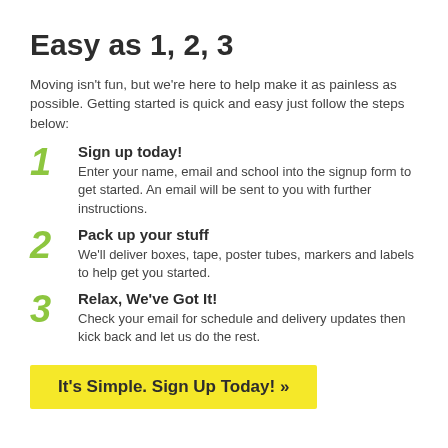Easy as 1, 2, 3
Moving isn't fun, but we're here to help make it as painless as possible. Getting started is quick and easy just follow the steps below:
1 Sign up today! Enter your name, email and school into the signup form to get started. An email will be sent to you with further instructions.
2 Pack up your stuff We'll deliver boxes, tape, poster tubes, markers and labels to help get you started.
3 Relax, We've Got It! Check your email for schedule and delivery updates then kick back and let us do the rest.
It's Simple. Sign Up Today! »